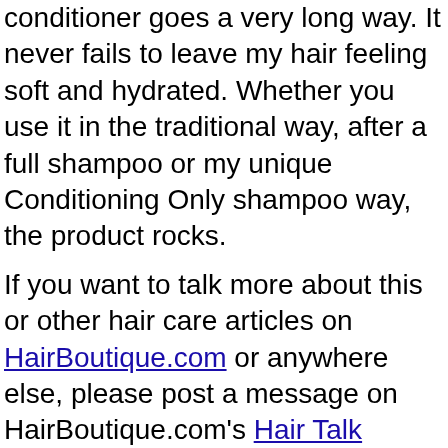conditioner goes a very long way. It never fails to leave my hair feeling soft and hydrated. Whether you use it in the traditional way, after a full shampoo or my unique Conditioning Only shampoo way, the product rocks.
If you want to talk more about this or other hair care articles on HairBoutique.com or anywhere else, please post a message on HairBoutique.com's Hair Talk Forums.
Social Media